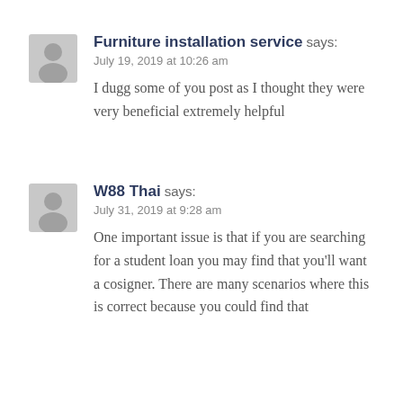[Figure (illustration): Gray avatar/user icon placeholder for first commenter]
Furniture installation service says:
July 19, 2019 at 10:26 am

I dugg some of you post as I thought they were very beneficial extremely helpful
[Figure (illustration): Gray avatar/user icon placeholder for second commenter]
W88 Thai says:
July 31, 2019 at 9:28 am

One important issue is that if you are searching for a student loan you may find that you'll want a cosigner. There are many scenarios where this is correct because you could find that